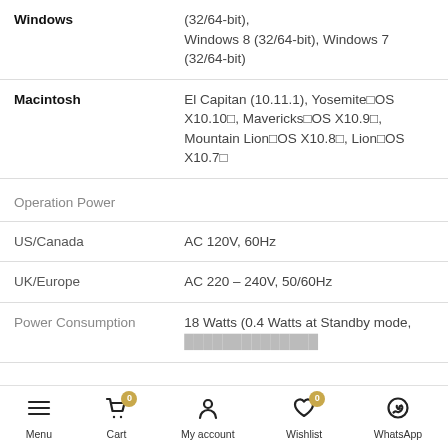| Specification | Value |
| --- | --- |
| Windows | (32/64-bit), Windows 8 (32/64-bit), Windows 7 (32/64-bit) |
| Macintosh | El Capitan (10.11.1), Yosemite□OS X10.10□, Mavericks□OS X10.9□, Mountain Lion□OS X10.8□, Lion□OS X10.7□ |
| Operation Power |  |
| US/Canada | AC 120V, 60Hz |
| UK/Europe | AC 220 – 240V, 50/60Hz |
| Power Consumption | 18 Watts (0.4 Watts at Standby mode, |
Menu  Cart  My account  Wishlist  WhatsApp